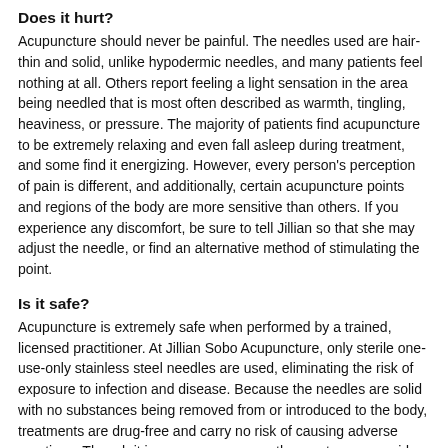Does it hurt?
Acupuncture should never be painful. The needles used are hair-thin and solid, unlike hypodermic needles, and many patients feel nothing at all. Others report feeling a light sensation in the area being needled that is most often described as warmth, tingling, heaviness, or pressure. The majority of patients find acupuncture to be extremely relaxing and even fall asleep during treatment, and some find it energizing. However, every person's perception of pain is different, and additionally, certain acupuncture points and regions of the body are more sensitive than others. If you experience any discomfort, be sure to tell Jillian so that she may adjust the needle, or find an alternative method of stimulating the point.
Is it safe?
Acupuncture is extremely safe when performed by a trained, licensed practitioner. At Jillian Sobo Acupuncture, only sterile one-use-only stainless steel needles are used, eliminating the risk of exposure to infection and disease. Because the needles are solid with no substances being removed from or introduced to the body, treatments are drug-free and carry no risk of causing adverse reactions. Though it is a rare occurrence, the most common side effect of acupuncture is